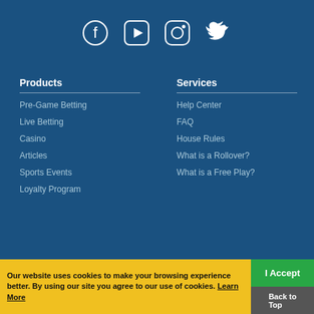[Figure (illustration): Social media icons: Facebook, YouTube (play button), Instagram, Twitter arranged horizontally]
Products
Pre-Game Betting
Live Betting
Casino
Articles
Sports Events
Loyalty Program
Services
Help Center
FAQ
House Rules
What is a Rollover?
What is a Free Play?
Our website uses cookies to make your browsing experience better. By using our site you agree to our use of cookies. Learn More
I Accept
Back to Top